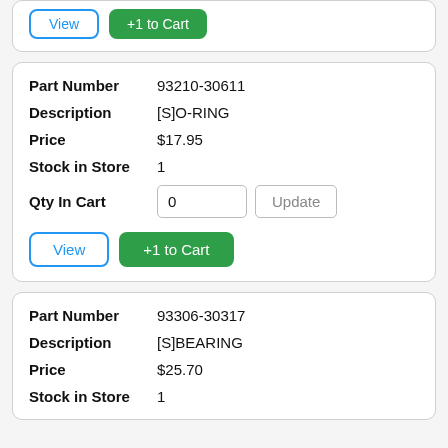View | +1 to Cart (top card buttons)
| Field | Value |
| --- | --- |
| Part Number | 93210-30611 |
| Description | [S]O-RING |
| Price | $17.95 |
| Stock in Store | 1 |
| Qty In Cart | 0 |
View | +1 to Cart (second card buttons)
| Field | Value |
| --- | --- |
| Part Number | 93306-30317 |
| Description | [S]BEARING |
| Price | $25.70 |
| Stock in Store | 1 |